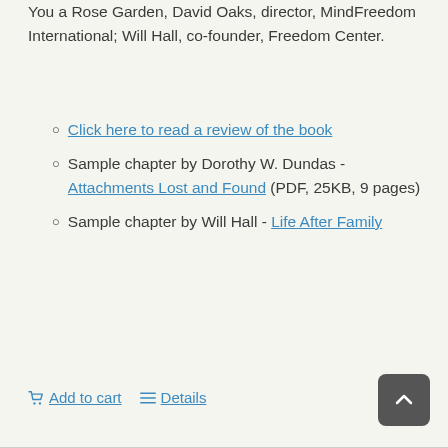You a Rose Garden, David Oaks, director, MindFreedom International; Will Hall, co-founder, Freedom Center.
Click here to read a review of the book
Sample chapter by Dorothy W. Dundas - Attachments Lost and Found (PDF, 25KB, 9 pages)
Sample chapter by Will Hall - Life After Family
Add to cart   Details